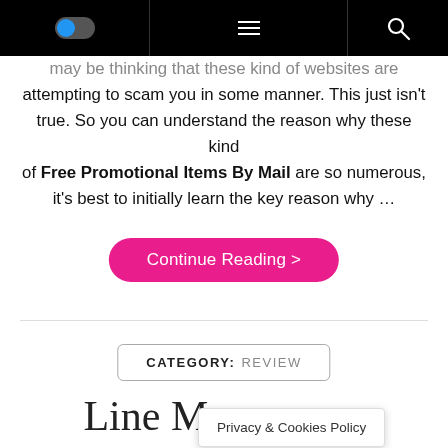[Toggle] [Hamburger menu] [Search icon]
may be thinking that these kind of websites are attempting to scam you in some manner. This just isn't true. So you can understand the reason why these kind of Free Promotional Items By Mail are so numerous, it's best to initially learn the key reason why …
Continue Reading >
CATEGORY: REVIEW
Line Magn… ver
Privacy & Cookies Policy